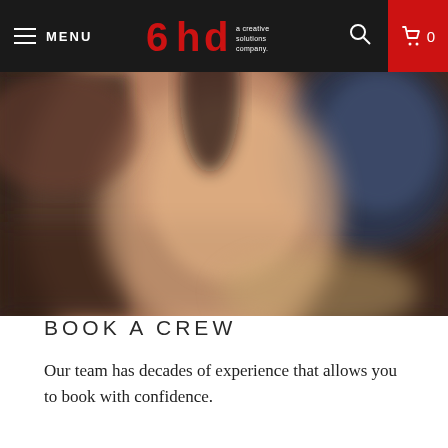MENU | 6hd a creative solutions company. | 🔍 | 🛒 0
[Figure (photo): Blurred close-up photo of a hand holding or touching something, with a dark background, warm skin tones, and a blurred screen visible in the background.]
BOOK A CREW
Our team has decades of experience that allows you to book with confidence.